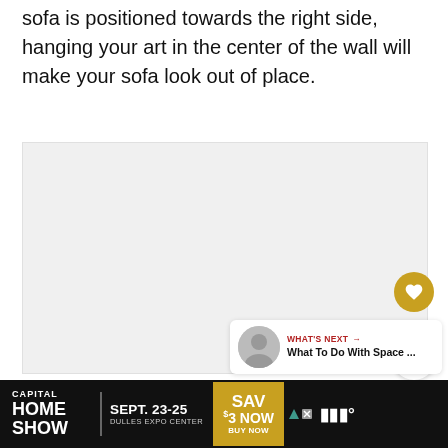sofa is positioned towards the right side, hanging your art in the center of the wall will make your sofa look out of place.
[Figure (photo): A large light gray rectangular image area (photo placeholder), with a gold/yellow heart button and share button overlaid on the right side, and a 'What's Next' thumbnail card at the bottom right.]
[Figure (screenshot): Advertisement banner at the bottom: Capital Home Show, Sept. 23-25, Dulles Expo Center, Save $3 Now Buy Now, on a dark background.]